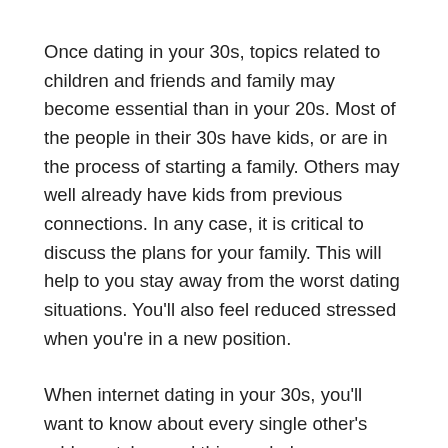Once dating in your 30s, topics related to children and friends and family may become essential than in your 20s. Most of the people in their 30s have kids, or are in the process of starting a family. Others may well already have kids from previous connections. In any case, it is critical to discuss the plans for your family. This will help to you stay away from the worst dating situations. You'll also feel reduced stressed when you're in a new position.
When internet dating in your 30s, you'll want to know about every single other's add-on styles, and this can help you converse better with the potential partners. The chance to communicate with your date clearly is crucial, especially if that you simply trying to find a life partner. Getting a great understanding of one another's emotional demands is crucial, and it can help you steer clear of bad occassions. With correct communication,